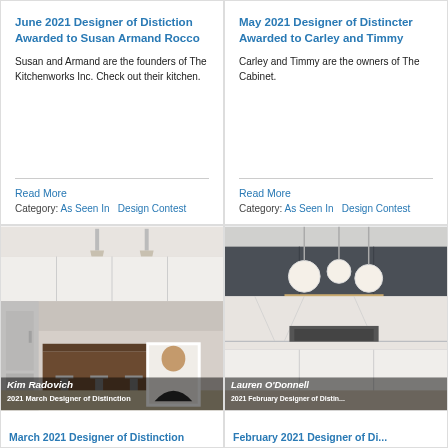June 2021 Designer of Distiction Awarded to Susan Armand Rocco
Susan and Armand are the founders of The Kitchenworks Inc. Check out their kitchen.
Read More
Category: As Seen In   Design Contest
May 2021 Designer of Distinction Awarded to Carley and Timmy
Carley and Timmy are the owners of The Cabinet.
Read More
Category: As Seen In   Design Contest
[Figure (photo): Kitchen interior photo with overlay label: Kim Radovich, 2021 March Designer of Distinction]
March 2021 Designer of Distinction
[Figure (photo): Kitchen interior photo with overlay label: Lauren O'Donnell, 2021 February Designer of Distinction]
February 2021 Designer of Dis...